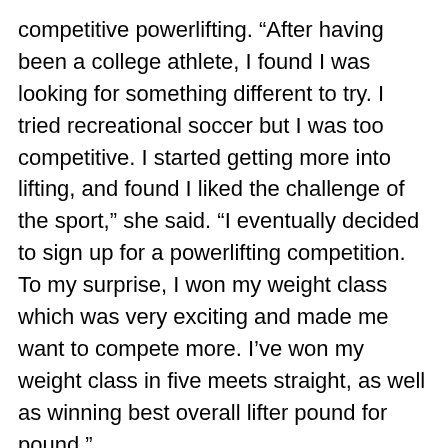competitive powerlifting. “After having been a college athlete, I found I was looking for something different to try. I tried recreational soccer but I was too competitive. I started getting more into lifting, and found I liked the challenge of the sport,” she said. “I eventually decided to sign up for a powerlifting competition. To my surprise, I won my weight class which was very exciting and made me want to compete more. I’ve won my weight class in five meets straight, as well as winning best overall lifter pound for pound.”
Jessica said that the thing she likes best about powerlifting is that “it takes a lot of dedication. It keeps me humble and working hard on everything in and out of the gym. I know that if I want to lift a specific weight, I need to work hard during my training, and if I don’t succeed, I need to work even harder. I have to keep trying and never lose sight of